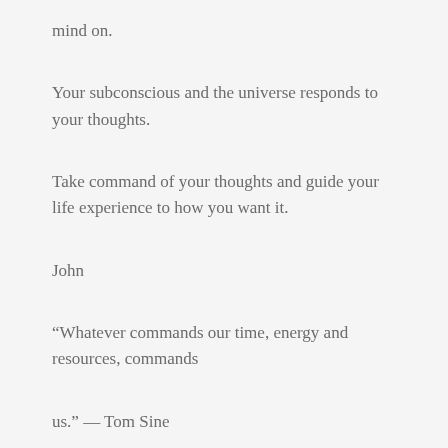mind on.
Your subconscious and the universe responds to your thoughts.
Take command of your thoughts and guide your life experience to how you want it.
John
“Whatever commands our time, energy and resources, commands
us.” — Tom Sine